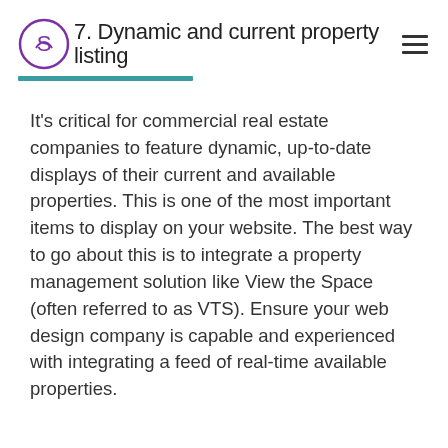7. Dynamic and current property listing
It's critical for commercial real estate companies to feature dynamic, up-to-date displays of their current and available properties. This is one of the most important items to display on your website. The best way to go about this is to integrate a property management solution like View the Space (often referred to as VTS). Ensure your web design company is capable and experienced with integrating a feed of real-time available properties.